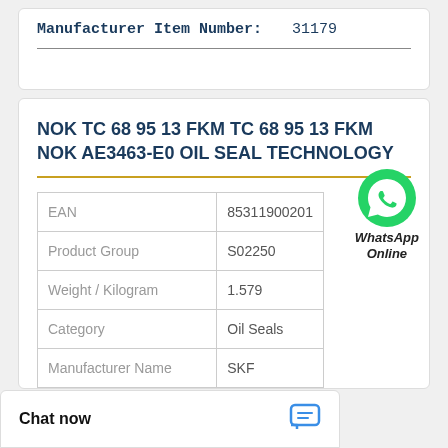Manufacturer Item Number:    31179
NOK TC 68 95 13 FKM TC 68 95 13 FKM NOK AE3463-E0 OIL SEAL TECHNOLOGY
|  |  |  |
| --- | --- | --- |
| EAN | 85311900201 |  |
| Product Group | S02250 |  |
| Weight / Kilogram | 1.579 |  |
| Category | Oil Seals |  |
| Manufacturer Name | SKF |  |
[Figure (logo): WhatsApp Online green phone icon with label 'WhatsApp Online']
Chat now